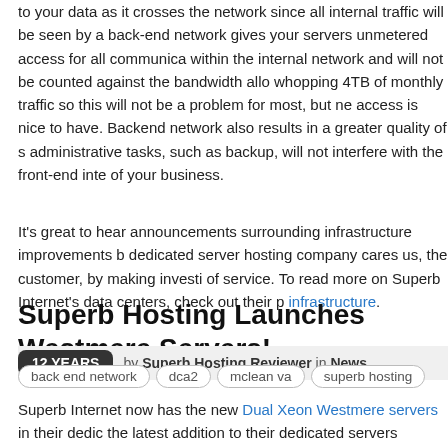to your data as it crosses the network since all internal traffic will be seen by a back-end network gives your servers unmetered access for all communications within the internal network and will not be counted against the bandwidth allowance. whopping 4TB of monthly traffic so this will not be a problem for most, but network access is nice to have. Backend network also results in a greater quality of service; administrative tasks, such as backup, will not interfere with the front-end interface of your business.
It's great to hear announcements surrounding infrastructure improvements by dedicated server hosting company cares us, the customer, by making investments in quality of service. To read more on Superb Internet's data centers, check out their page on infrastructure.
back end network
dca2
mclean va
superb hosting
Superb Hosting Launches Westmere Servers!
12 YEARS  by Superb Hosting Reviewer in News
Superb Internet now has the new Dual Xeon Westmere servers in their dedicated server line, the latest addition to their dedicated servers product line for high-performance computing. To shed light dark on this new CPU, the Xeon Westmere processor (5600s) is Intel's new